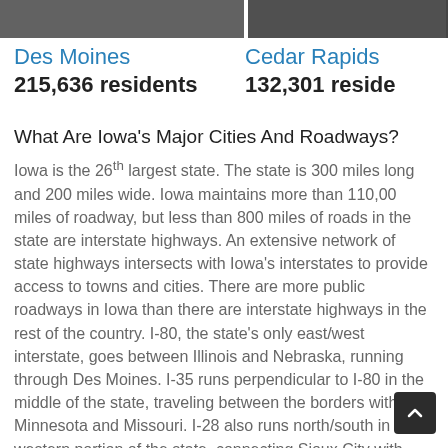[Figure (photo): Two city photos side by side at top of page, partially cropped]
Des Moines
215,636 residents
Cedar Rapids
132,301 residents
What Are Iowa's Major Cities And Roadways?
Iowa is the 26th largest state. The state is 300 miles long and 200 miles wide. Iowa maintains more than 110,00 miles of roadway, but less than 800 miles of roads in the state are interstate highways. An extensive network of state highways intersects with Iowa's interstates to provide access to towns and cities. There are more public roadways in Iowa than there are interstate highways in the rest of the country. I-80, the state's only east/west interstate, goes between Illinois and Nebraska, running through Des Moines. I-35 runs perpendicular to I-80 in the middle of the state, traveling between the borders with Minnesota and Missouri. I-28 also runs north/south in the western portion of the state, connecting Sioux City with